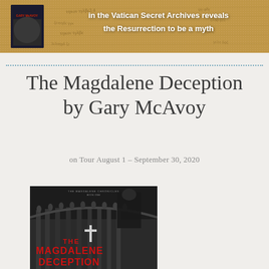[Figure (illustration): Banner image showing a textured parchment/manuscript background with handwritten text, containing a small book cover for 'The Magdalene Deception by Gary McAvoy' on the left, and bold white text on the right reading 'in the Vatican Secret Archives reveals the Resurrection to be a myth']
The Magdalene Deception by Gary McAvoy
on Tour August 1 – September 30, 2020
[Figure (illustration): Book cover for 'The Magdalene Deception' showing a dark grayscale image of a Vatican colonnade with statues, a priest figure partially visible, a cross, and bold red text reading 'THE MAGDALENE DECEPTION' with subtitle text 'THE MAGDALENE CHRONICLES BOOK ONE' at the top]